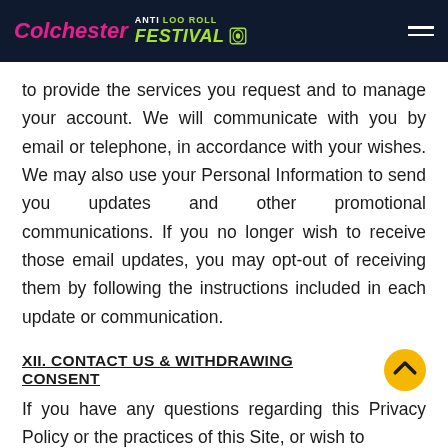Colchester Anti Loo Roll Festival
to provide the services you request and to manage your account. We will communicate with you by email or telephone, in accordance with your wishes. We may also use your Personal Information to send you updates and other promotional communications. If you no longer wish to receive those email updates, you may opt-out of receiving them by following the instructions included in each update or communication.
XII. CONTACT US & WITHDRAWING CONSENT
If you have any questions regarding this Privacy Policy or the practices of this Site, or wish to